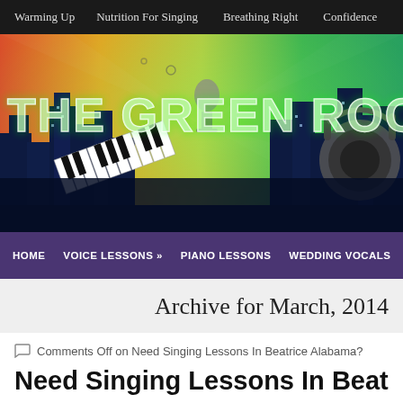Warming Up | Nutrition For Singing | Breathing Right | Confidence
[Figure (illustration): The Green Room blog banner with colorful cityscape, piano keys, microphone, headphones, and glowing neon text 'THE GREEN ROOM']
HOME | VOICE LESSONS » | PIANO LESSONS | WEDDING VOCALS | CONTACT
Archive for March, 2014
Comments Off on Need Singing Lessons In Beatrice Alabama?
Need Singing Lessons In Beatrice Alabama?